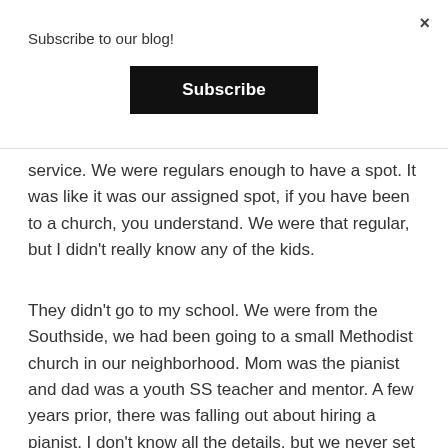×
Subscribe to our blog!
Subscribe
service. We were regulars enough to have a spot. It was like it was our assigned spot, if you have been to a church, you understand. We were that regular, but I didn't really know any of the kids.
They didn't go to my school. We were from the Southside, we had been going to a small Methodist church in our neighborhood. Mom was the pianist and dad was a youth SS teacher and mentor. A few years prior, there was falling out about hiring a pianist. I don't know all the details, but we never set foot in that church again. We seemed to lay out of church for a while.